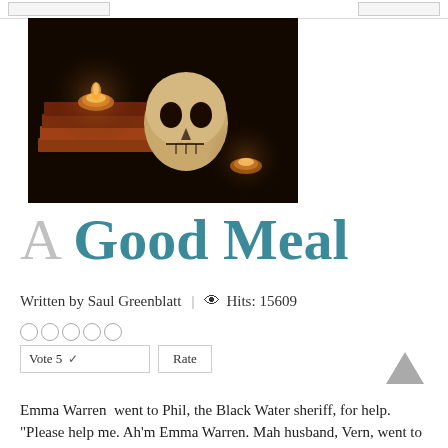[Figure (photo): Dark atmospheric photo of a human skull sitting next to stacked books with lit candles in small glass holders, on a dark background]
A Good Meal
Written by Saul Greenblatt | 👁 Hits: 15609
○○○○○
Vote 5  ∨   Rate
Emma Warren  went to Phil, the Black Water sheriff, for help. "Please help me. Ah'm Emma Warren. Mah husband, Vern, went to find frogs in the swamp